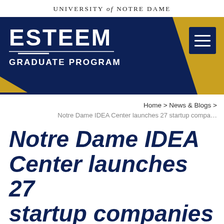UNIVERSITY of NOTRE DAME
[Figure (logo): ESTEEM Graduate Program banner logo with navy blue and gold background, hamburger menu icon]
Home > News & Blogs >
Notre Dame IDEA Center launches 27 startup compa...
Notre Dame IDEA Center launches 27 startup companies in first year of